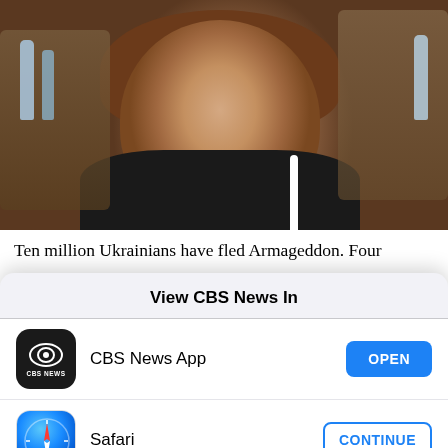[Figure (photo): A middle-aged woman with reddish-brown hair wearing a black puffer vest, seated at a table with bottles and other items in the background, looking distressed.]
Ten million Ukrainians have fled Armageddon. Four
View CBS News In
CBS News App
OPEN
Safari
CONTINUE